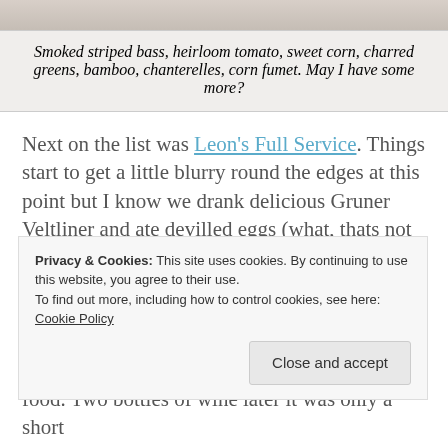[Figure (photo): Top portion of a food photo showing smoked striped bass dish]
Smoked striped bass, heirloom tomato, sweet corn, charred greens, bamboo, chanterelles, corn fumet. May I have some more?
Next on the list was Leon's Full Service. Things start to get a little blurry round the edges at this point but I know we drank delicious Gruner Veltliner and ate devilled eggs (what, thats not what you order when you're drunk?) and an actual bucket of fries with smoked tomato aoli. Leon's is actually owned by the same people at Kimball House and it showed in their immaculate service and attention to detail in the food. Two bottles of wine later it was only a short
Privacy & Cookies: This site uses cookies. By continuing to use this website, you agree to their use.
To find out more, including how to control cookies, see here: Cookie Policy
Close and accept